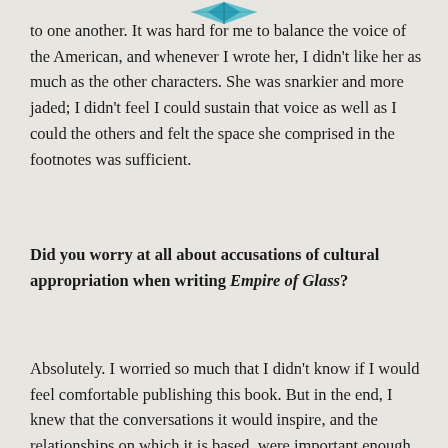[Figure (logo): Decorative blue logo/emblem at the top center of the page]
to one another. It was hard for me to balance the voice of the American, and whenever I wrote her, I didn't like her as much as the other characters. She was snarkier and more jaded; I didn't feel I could sustain that voice as well as I could the others and felt the space she comprised in the footnotes was sufficient.
Did you worry at all about accusations of cultural appropriation when writing Empire of Glass?
Absolutely. I worried so much that I didn't know if I would feel comfortable publishing this book. But in the end, I knew that the conversations it would inspire, and the relationships on which it is based, were important enough to persevere.